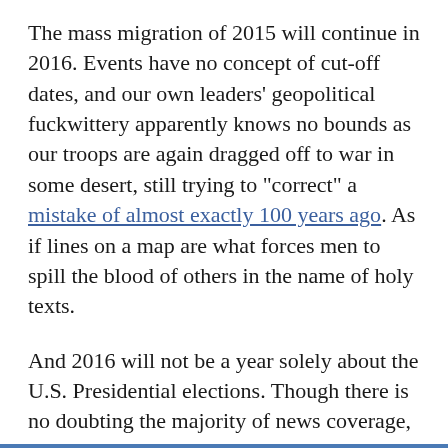The mass migration of 2015 will continue in 2016. Events have no concept of cut-off dates, and our own leaders' geopolitical fuckwittery apparently knows no bounds as our troops are again dragged off to war in some desert, still trying to "correct" a mistake of almost exactly 100 years ago. As if lines on a map are what forces men to spill the blood of others in the name of holy texts.
And 2016 will not be a year solely about the U.S. Presidential elections. Though there is no doubting the majority of news coverage, especially towards the end of the year, will be about which Republican is the most racist, and which Democrat cares most